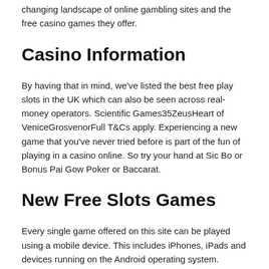changing landscape of online gambling sites and the free casino games they offer.
Casino Information
By having that in mind, we've listed the best free play slots in the UK which can also be seen across real-money operators. Scientific Games35ZeusHeart of VeniceGrosvenorFull T&Cs apply. Experiencing a new game that you've never tried before is part of the fun of playing in a casino online. So try your hand at Sic Bo or Bonus Pai Gow Poker or Baccarat.
New Free Slots Games
Every single game offered on this site can be played using a mobile device. This includes iPhones, iPads and devices running on the Android operating system. Mobile